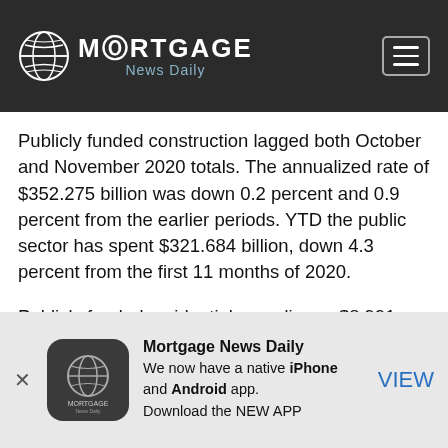MORTGAGE News Daily
Publicly funded construction lagged both October and November 2020 totals. The annualized rate of $352.275 billion was down 0.2 percent and 0.9 percent from the earlier periods. YTD the public sector has spent $321.684 billion, down 4.3 percent from the first 11 months of 2020.
Publicly funded residential spending, a $8.991 billion rate for the month, has totaled $8.376 billion through November. This is down 1.1 percent from spending to
[Figure (logo): Mortgage News Daily app advertisement banner with logo, text 'We now have a native iPhone and Android app. Download the NEW APP', and a VIEW button]